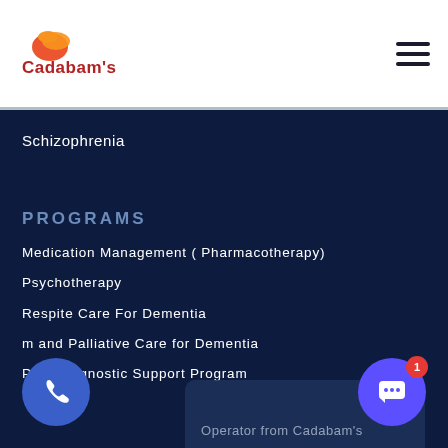[Figure (logo): Cadabam's logo with red and orange swoosh icon and brand name text]
Schizophrenia
PROGRAMS
Medication Management ( Pharmacotherapy)
Psychotherapy
Respite Care For Dementia
m and Palliative Care for Dementia
Post Diagnostic Support Program